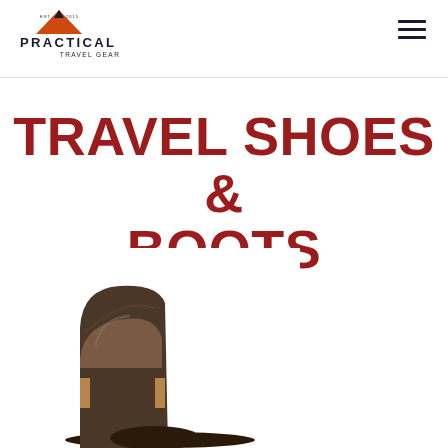Practical Travel Gear
TRAVEL SHOES & BOOTS
[Figure (photo): Brown leather chelsea ankle boot, partially cropped at bottom of page]